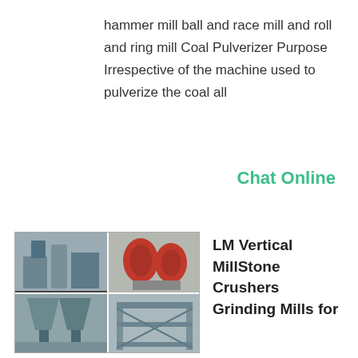hammer mill ball and race mill and roll and ring mill Coal Pulverizer Purpose Irrespective of the machine used to pulverize the coal all
Chat Online
[Figure (photo): A collage of four industrial machinery images showing grinding mills and stone crushers.]
LM Vertical MillStone Crushers Grinding Mills for
Vertical mill has two pairs of grinding rollers each pair of roller composed of two narrow rollers mounted on the same axis and can rotate at different speeds There are two circular disc slot and roller to the tire shape work pressure in the tank.